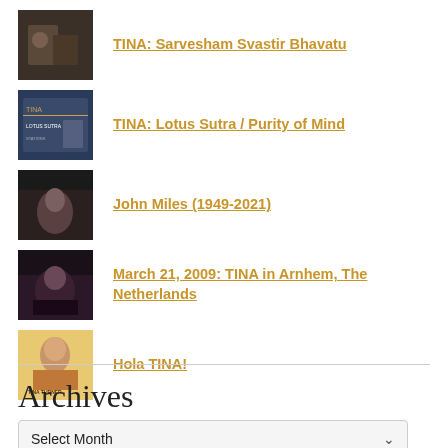TINA: Sarvesham Svastir Bhavatu
TINA: Lotus Sutra / Purity of Mind
John Miles (1949-2021)
March 21, 2009: TINA in Arnhem, The Netherlands
Hola TINA!
Archives
Select Month